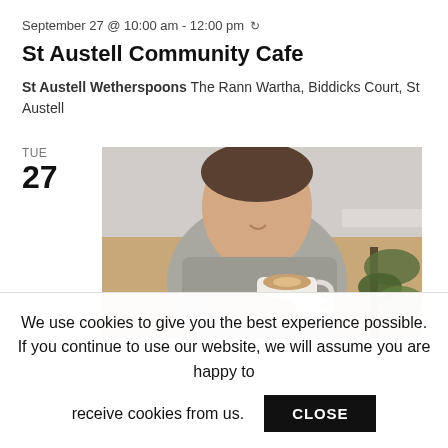September 27 @ 10:00 am - 12:00 pm ↻
St Austell Community Cafe
St Austell Wetherspoons The Rann Wartha, Biddicks Court, St Austell
TUE 27
[Figure (photo): A person in a grey sweatshirt holding a white coffee cup and saucer, with plants and a warm-toned background.]
We use cookies to give you the best experience possible. If you continue to use our website, we will assume you are happy to receive cookies from us. CLOSE